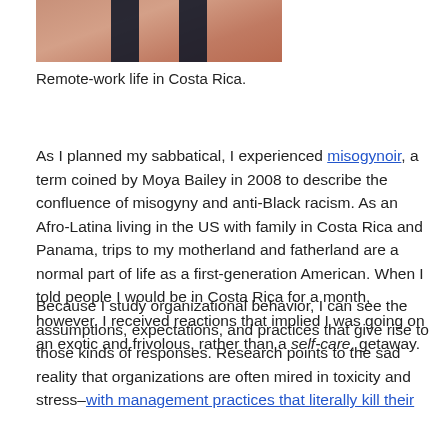[Figure (photo): Cropped photo showing a person's torso and shoulders wearing a black top, skin visible — associated with remote-work life in Costa Rica article]
Remote-work life in Costa Rica.
As I planned my sabbatical, I experienced misogynoir, a term coined by Moya Bailey in 2008 to describe the confluence of misogyny and anti-Black racism. As an Afro-Latina living in the US with family in Costa Rica and Panama, trips to my motherland and fatherland are a normal part of life as a first-generation American. When I told people I would be in Costa Rica for a month, however, I received reactions that implied I was going on an exotic and frivolous, rather than a self-care, getaway.
Because I study organizational behavior, I can see the assumptions, expectations, and practices that give rise to those kinds of responses. Research points to the sad reality that organizations are often mired in toxicity and stress–with management practices that literally kill their